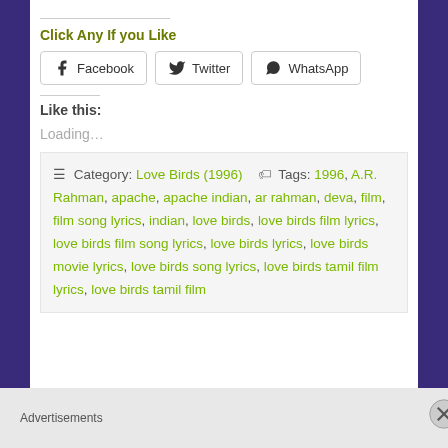Click Any If you Like
[Figure (other): Social share buttons: Facebook, Twitter, WhatsApp]
Like this:
Loading...
Category: Love Birds (1996)  Tags: 1996, A.R. Rahman, apache, apache indian, ar rahman, deva, film, film song lyrics, indian, love birds, love birds film lyrics, love birds film song lyrics, love birds lyrics, love birds movie lyrics, love birds song lyrics, love birds tamil film lyrics, love birds tamil film
Advertisements